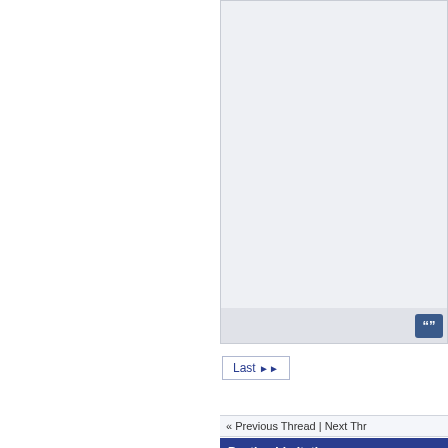[Figure (screenshot): Forum post content area with light blue-gray background, showing a text area box.]
+ Add Report  1  2  3  4  5  11  5  Last >>
« Previous Thread | Next Thread
Posting Limitations